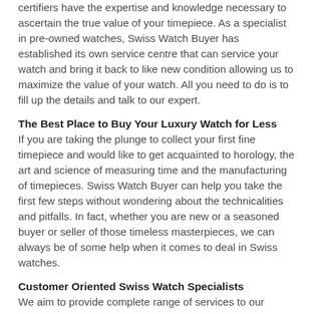certifiers have the expertise and knowledge necessary to ascertain the true value of your timepiece. As a specialist in pre-owned watches, Swiss Watch Buyer has established its own service centre that can service your watch and bring it back to like new condition allowing us to maximize the value of your watch. All you need to do is to fill up the details and talk to our expert.
The Best Place to Buy Your Luxury Watch for Less
If you are taking the plunge to collect your first fine timepiece and would like to get acquainted to horology, the art and science of measuring time and the manufacturing of timepieces. Swiss Watch Buyer can help you take the first few steps without wondering about the technicalities and pitfalls. In fact, whether you are new or a seasoned buyer or seller of those timeless masterpieces, we can always be of some help when it comes to deal in Swiss watches.
Customer Oriented Swiss Watch Specialists
We aim to provide complete range of services to our